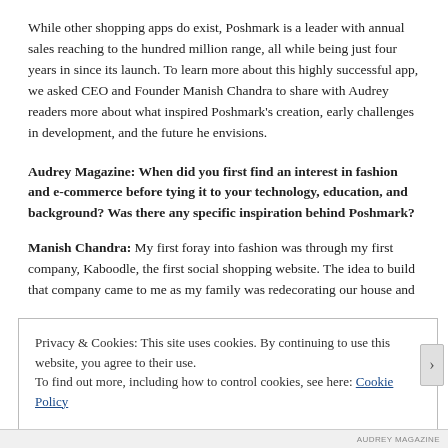While other shopping apps do exist, Poshmark is a leader with annual sales reaching to the hundred million range, all while being just four years in since its launch.  To learn more about this highly successful app, we asked CEO and Founder Manish Chandra to share with Audrey readers more about what inspired Poshmark's creation, early challenges in development, and the future he envisions.
Audrey Magazine:  When did you first find an interest in fashion and e-commerce before tying it to your technology, education, and background?  Was there any specific inspiration behind Poshmark?
Manish Chandra:  My first foray into fashion was through my first company, Kaboodle, the first social shopping website. The idea to build that company came to me as my family was redecorating our house and
Privacy & Cookies: This site uses cookies. By continuing to use this website, you agree to their use.
To find out more, including how to control cookies, see here: Cookie Policy
Close and accept